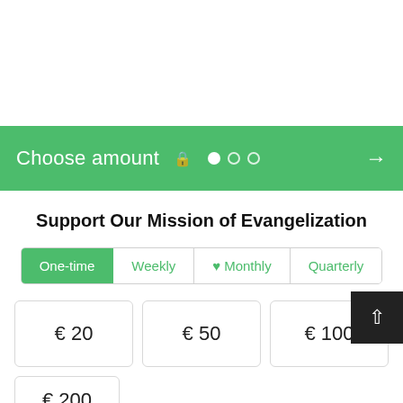Choose amount
Support Our Mission of Evangelization
One-time
Weekly
♥ Monthly
Quarterly
€ 20
€ 50
€ 100
€ 200